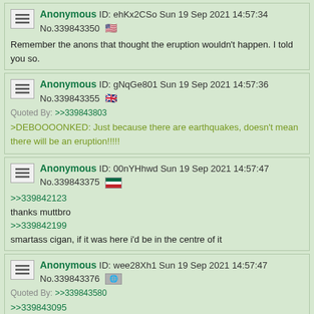Anonymous ID: ehKx2CSo Sun 19 Sep 2021 14:57:34 No.339843350 [US flag]
Remember the anons that thought the eruption wouldn't happen. I told you so.
Anonymous ID: gNqGe801 Sun 19 Sep 2021 14:57:36 No.339843355 [UK flag]
Quoted By: >>339843803
>DEBOOOONKED: Just because there are earthquakes, doesn't mean there will be an eruption!!!!!
Anonymous ID: 00nYHhwd Sun 19 Sep 2021 14:57:47 No.339843375 [flag]
>>339842123
thanks muttbro
>>339842199
smartass cigan, if it was here i'd be in the centre of it
Anonymous ID: wee28Xh1 Sun 19 Sep 2021 14:57:47 No.339843376 [flag]
Quoted By: >>339843580
>>339843095
I know. Allow me my little pleasures. Very serious things in the mix. The road to perfection is marked with many remains. Look to the sky